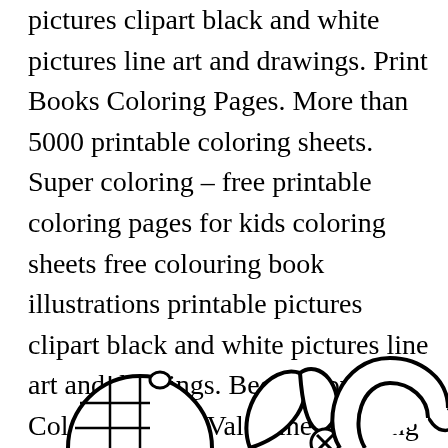pictures clipart black and white pictures line art and drawings. Print Books Coloring Pages. More than 5000 printable coloring sheets. Super coloring – free printable coloring pages for kids coloring sheets free colouring book illustrations printable pictures clipart black and white pictures line art and drawings. Bee Happy Bee Coloring Pages Valentine Coloring Pages Cute Coloring Pages.
[Figure (illustration): Partial black and white line art illustrations of cartoon bee/animal coloring page characters — two partially visible figures at bottom left and bottom right, with a small circled X symbol between them.]